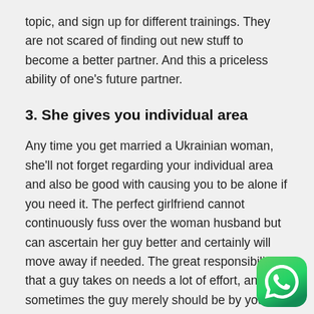topic, and sign up for different trainings. They are not scared of finding out new stuff to become a better partner. And this a priceless ability of one's future partner.
3. She gives you individual area
Any time you get married a Ukrainian woman, she'll not forget regarding your individual area and also be good with causing you to be alone if you need it. The perfect girlfriend cannot continuously fuss over the woman husband but can ascertain her guy better and certainly will move away if needed. The great responsibility that a guy takes on needs a lot of effort, and sometimes the guy merely should be by yourself or with pals. Occasionally a man must stay static in the garage or check out soccer. Sometimes you will need to think of solving a preexisting challenge. And do it all without this lady.
[Figure (logo): WhatsApp logo icon with white phone handset on green rounded square background]